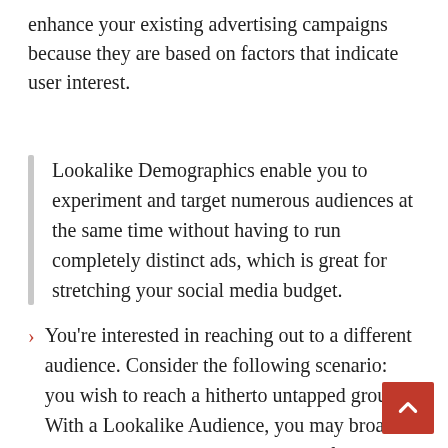enhance your existing advertising campaigns because they are based on factors that indicate user interest.
Lookalike Demographics enable you to experiment and target numerous audiences at the same time without having to run completely distinct ads, which is great for stretching your social media budget.
You're interested in reaching out to a different audience. Consider the following scenario: you wish to reach a hitherto untapped group. With a Lookalike Audience, you may broaden your targeting without straying too far